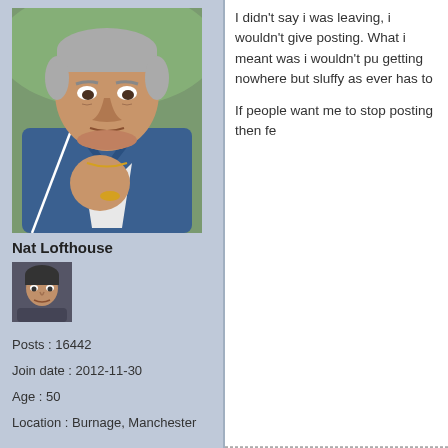[Figure (photo): Large photo of an older man with gray hair wearing a blue zip-up jacket, making a fist gesture with a gold ring visible]
Nat Lofthouse
[Figure (photo): Small avatar thumbnail of a younger man with short dark hair]
Posts : 16442
Join date : 2012-11-30
Age : 50
Location : Burnage, Manchester
I didn't say i was leaving, i wouldn't give posting. What i meant was i wouldn't pu getting nowhere but sluffy as ever has to

If people want me to stop posting then fe